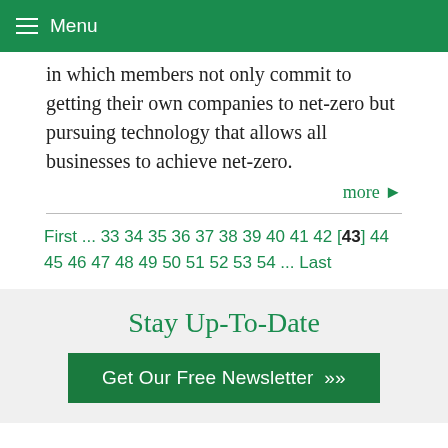Menu
in which members not only commit to getting their own companies to net-zero but pursuing technology that allows all businesses to achieve net-zero.
more ▶
First ... 33 34 35 36 37 38 39 40 41 42 [43] 44 45 46 47 48 49 50 51 52 53 54 ... Last
Stay Up-To-Date
Get Our Free Newsletter »